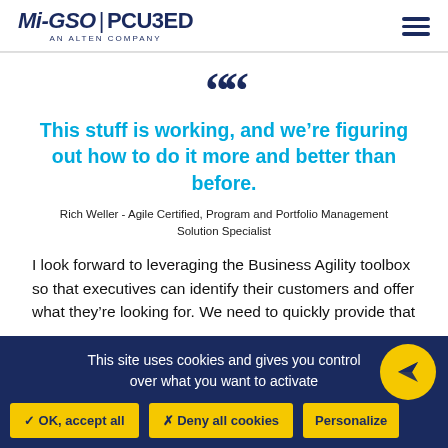Mi-GSO | PCU3ED AN ALTEN COMPANY
““
This stuff is working, and we’re figuring out how to do it more and better than before.
Rich Weller - Agile Certified, Program and Portfolio Management Solution Specialist
I look forward to leveraging the Business Agility toolbox so that executives can identify their customers and offer what they’re looking for. We need to quickly provide that
This site uses cookies and gives you control over what you want to activate
✓ OK, accept all   ✗ Deny all cookies   Personalize